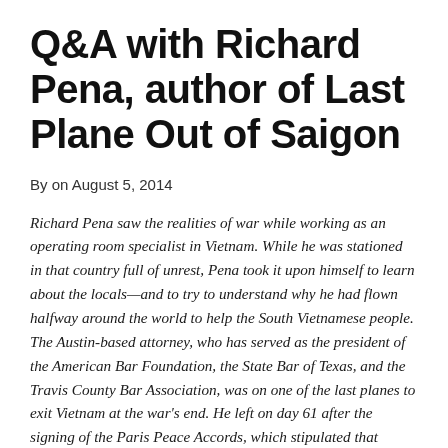Q&A with Richard Pena, author of Last Plane Out of Saigon
By on August 5, 2014
Richard Pena saw the realities of war while working as an operating room specialist in Vietnam. While he was stationed in that country full of unrest, Pena took it upon himself to learn about the locals—and to try to understand why he had flown halfway around the world to help the South Vietnamese people. The Austin-based attorney, who has served as the president of the American Bar Foundation, the State Bar of Texas, and the Travis County Bar Association, was on one of the last planes to exit Vietnam at the war's end. He left on day 61 after the signing of the Paris Peace Accords, which stipulated that America withdraw in 60 days. Last Plane Out of Saigon is a